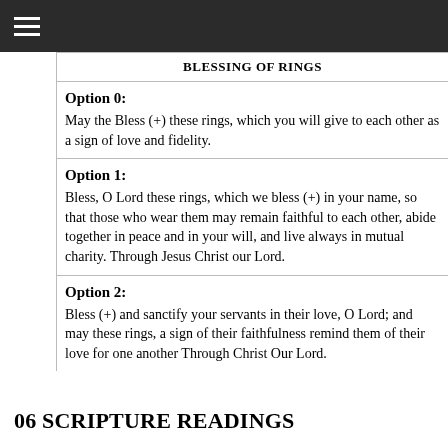BLESSING OF RINGS
Option 0:
May the Bless (+) these rings, which you will give to each other as a sign of love and fidelity.
Option 1:
Bless, O Lord these rings, which we bless (+) in your name, so that those who wear them may remain faithful to each other, abide together in peace and in your will, and live always in mutual charity. Through Jesus Christ our Lord.
Option 2:
Bless (+) and sanctify your servants in their love, O Lord; and may these rings, a sign of their faithfulness remind them of their love for one another Through Christ Our Lord.
06 SCRIPTURE READINGS